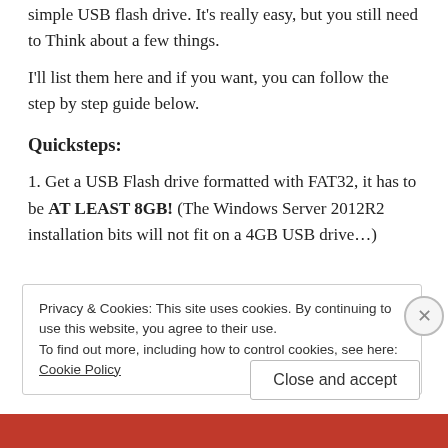simple USB flash drive. It's really easy, but you still need to Think about a few things.
I'll list them here and if you want, you can follow the step by step guide below.
Quicksteps:
1. Get a USB Flash drive formatted with FAT32, it has to be AT LEAST 8GB! (The Windows Server 2012R2 installation bits will not fit on a 4GB USB drive...)
Privacy & Cookies: This site uses cookies. By continuing to use this website, you agree to their use.
To find out more, including how to control cookies, see here: Cookie Policy
Close and accept